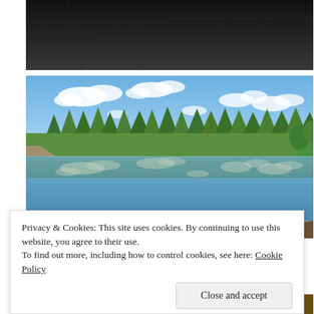[Figure (photo): Dark close-up photo, likely interior or dark surface, cropped at top]
[Figure (photo): Outdoor lake scene with blue sky, white clouds reflected on calm water, surrounded by green forest trees, bright summer day in Nordic setting]
Privacy & Cookies: This site uses cookies. By continuing to use this website, you agree to their use.
To find out more, including how to control cookies, see here: Cookie Policy
[Figure (photo): Bottom partially visible photo showing yellow object outdoors]